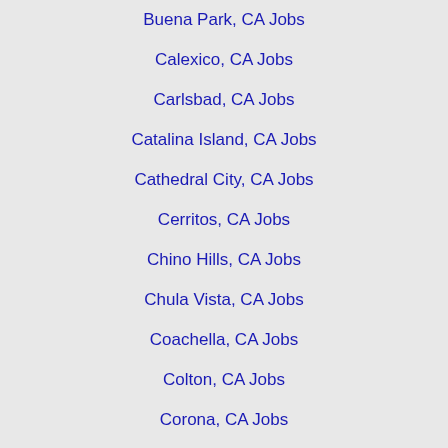Buena Park, CA Jobs
Calexico, CA Jobs
Carlsbad, CA Jobs
Catalina Island, CA Jobs
Cathedral City, CA Jobs
Cerritos, CA Jobs
Chino Hills, CA Jobs
Chula Vista, CA Jobs
Coachella, CA Jobs
Colton, CA Jobs
Corona, CA Jobs
Costa Mesa, CA Jobs
Cypress, CA Jobs
Diamond Bar, CA Jobs
El Cajon, CA Jobs
El Centro, CA Jobs
Encinitas, CA Jobs
Escondido, CA Jobs